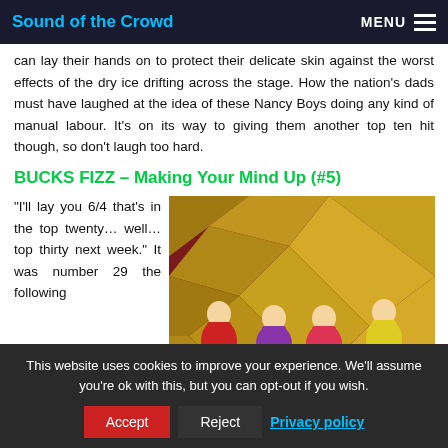Sound of the Crowd | MENU
can lay their hands on to protect their delicate skin against the worst effects of the dry ice drifting across the stage. How the nation's dads must have laughed at the idea of these Nancy Boys doing any kind of manual labour. It's on its way to giving them another top ten hit though, so don't laugh too hard.
BUCKS FIZZ – Making Your Mind Up (#5)
“I’ll lay you 6/4 that’s in the top twenty… well… top thirty next week.” It was number 29 the following
[Figure (photo): Bucks Fizz performing on stage with geometric gold/red backdrop, four performers in colourful outfits]
This website uses cookies to improve your experience. We’ll assume you’re ok with this, but you can opt-out if you wish.
Accept | Reject | Privacy policy